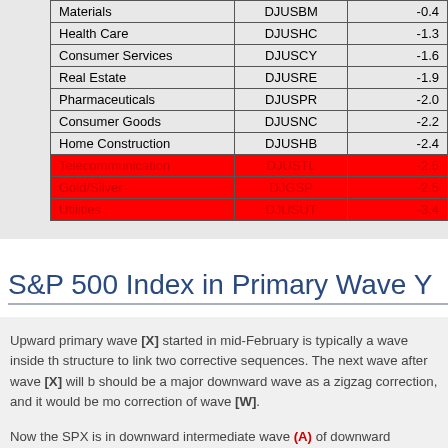| Sector | Ticker | Value |
| --- | --- | --- |
| Materials | DJUSBM | -0.4 |
| Health Care | DJUSHC | -1.3 |
| Consumer Services | DJUSCY | -1.6 |
| Real Estate | DJUSRE | -1.9 |
| Pharmaceuticals | DJUSPR | -2.0 |
| Consumer Goods | DJUSNC | -2.2 |
| Home Construction | DJUSHB | -2.4 |
| Telecommunication | DJUSTL | -2.5 |
| Gold/Silver | DJGSP | -2.5 |
| Utilities | DJUSUT | -3.4 |
S&P 500 Index in Primary Wave Y
Upward primary wave [X] started in mid-February is typically a wave inside the structure to link two corrective sequences. The next wave after wave [X] will should be a major downward wave as a zigzag correction, and it would be more correction of wave [W].
Now the SPX is in downward intermediate wave (A) of downward primary wa...